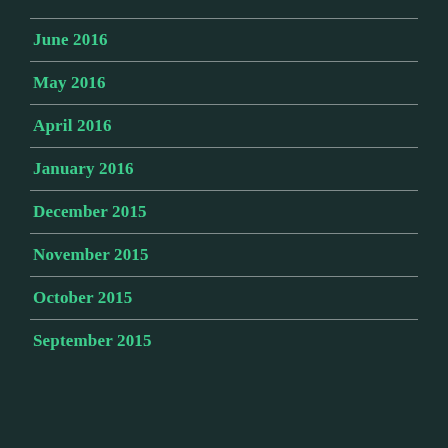June 2016
May 2016
April 2016
January 2016
December 2015
November 2015
October 2015
September 2015